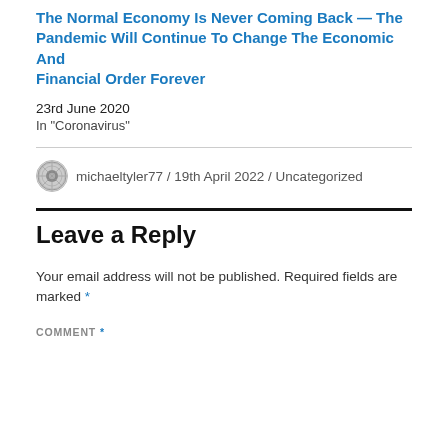The Normal Economy Is Never Coming Back — The Pandemic Will Continue To Change The Economic And Financial Order Forever
23rd June 2020
In "Coronavirus"
michaeltyler77 / 19th April 2022 / Uncategorized
Leave a Reply
Your email address will not be published. Required fields are marked *
COMMENT *